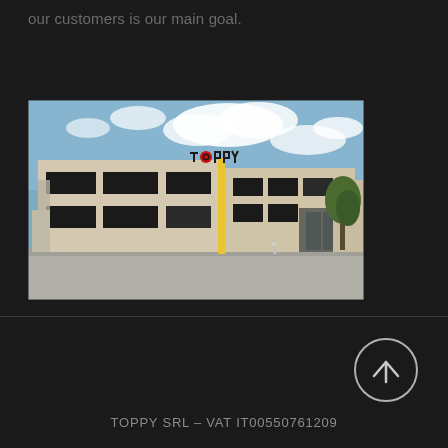our customers is our main goal.
[Figure (photo): Exterior photo of Toppy SRL industrial/office building with TOPPY logo sign on facade, blue sky with clouds, parking area in foreground]
TOPPY SRL – VAT IT00550761209